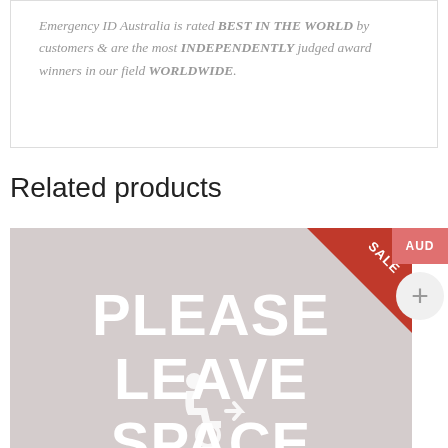Emergency ID Australia is rated BEST IN THE WORLD by customers & are the most INDEPENDENTLY judged award winners in our field WORLDWIDE.
Related products
[Figure (photo): Product image showing 'PLEASE LEAVE SPACE' text on a grey background with a wheelchair user icon, and a red SALE triangle badge in the top right corner.]